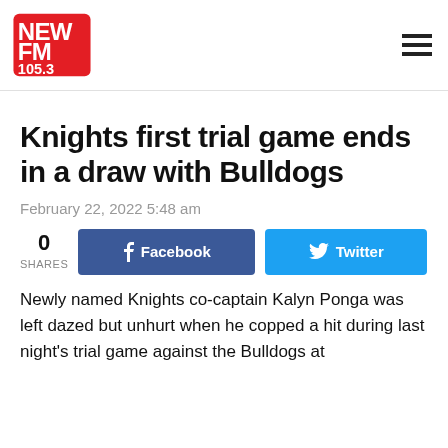NEW FM 105.3
Knights first trial game ends in a draw with Bulldogs
February 22, 2022 5:48 am
0 SHARES
Newly named Knights co-captain Kalyn Ponga was left dazed but unhurt when he copped a hit during last night's trial game against the Bulldogs at